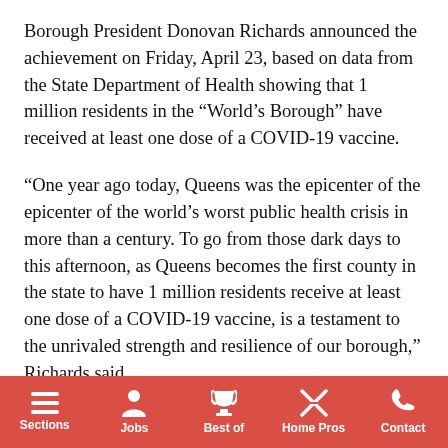Borough President Donovan Richards announced the achievement on Friday, April 23, based on data from the State Department of Health showing that 1 million residents in the “World’s Borough” have received at least one dose of a COVID-19 vaccine.
“One year ago today, Queens was the epicenter of the epicenter of the world’s worst public health crisis in more than a century. To go from those dark days to this afternoon, as Queens becomes the first county in the state to have 1 million residents receive at least one dose of a COVID-19 vaccine, is a testament to the unrivaled strength and resilience of our borough,” Richards said.
Sections | Jobs | Best of | Home Pros | Contact